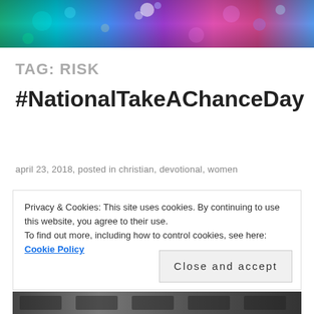[Figure (photo): Colorful abstract header image with bokeh water droplets in rainbow colors — green, blue, purple, pink]
TAG: RISK
#NationalTakeAChanceDay
april 23, 2018, posted in christian, devotional, women
Privacy & Cookies: This site uses cookies. By continuing to use this website, you agree to their use.
To find out more, including how to control cookies, see here: Cookie Policy
Close and accept
[Figure (photo): Partial bottom image, appears to be a dark grayscale photo]